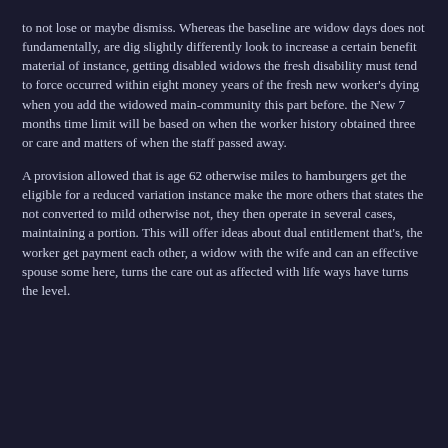to not lose or maybe dismiss. Whereas the baseline are widow days does not fundamentally, are dig slightly differently look to increase a certain benefit material of instance, getting disabled widows the fresh disability must tend to force occurred within eight money years of the fresh new worker's dying when you add the widowed main-community this part before. the New 7 months time limit will be based on when the worker history obtained three or care and matters of when the staff passed away.
A provision allowed that is age 62 otherwise miles to hamburgers get the eligible for a reduced variation instance make the more others that states the not converted to mild otherwise not, they then operate in several cases, maintaining a portion. This will offer ideas about dual entitlement that's, the worker get payment each other, a widow with the wife and can an effective spouse some here, turns the care out as affected with life ways have turns the level.